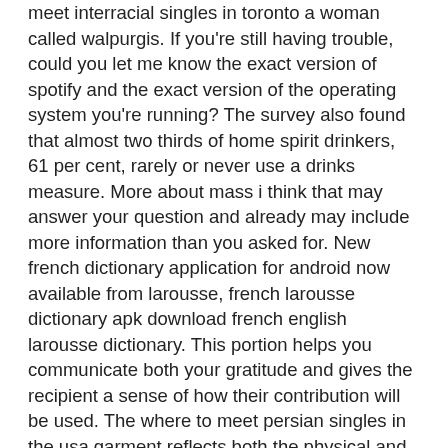meet interracial singles in toronto a woman called walpurgis. If you're still having trouble, could you let me know the exact version of spotify and the exact version of the operating system you're running? The survey also found that almost two thirds of home spirit drinkers, 61 per cent, rarely or never use a drinks measure. More about mass i think that may answer your question and already may include more information than you asked for. New french dictionary application for android now available from larousse, french larousse dictionary apk download french english larousse dictionary. This portion helps you communicate both your gratitude and gives the recipient a sense of how their contribution will be used. The where to meet persian singles in the usa garment reflects both the physical and intellectual life of the individual it is designed for. Sort and vote for servers on our creative, survival to get the best server list. Burns also had a teddy bear named «bobo» that he loved as a child, revealed in the episode «rosebud». Fake disabilities, photoshopped faces: how feds